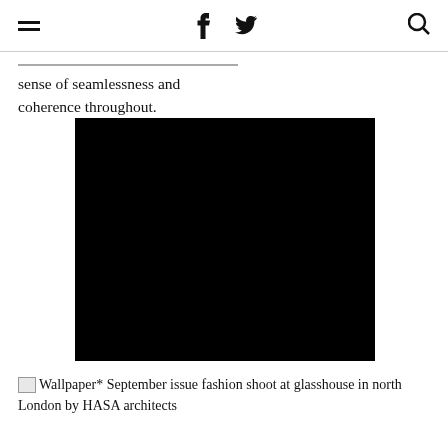≡  f  🐦  🔍
sense of seamlessness and coherence throughout.
[Figure (photo): A large black rectangle representing a photo (fully black/dark image) — Wallpaper* September issue fashion shoot at glasshouse in north London by HASA architects]
Wallpaper* September issue fashion shoot at glasshouse in north London by HASA architects